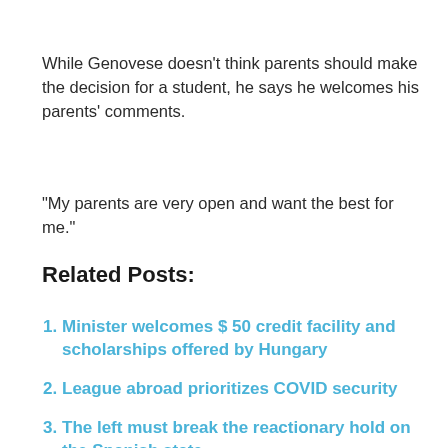While Genovese doesn't think parents should make the decision for a student, he says he welcomes his parents' comments.
“My parents are very open and want the best for me.”
Related Posts:
Minister welcomes $ 50 credit facility and scholarships offered by Hungary
League abroad prioritizes COVID security
The left must break the reactionary hold on the Spanish state
National Labor Relations Council: NCAA Athletes Are Employees